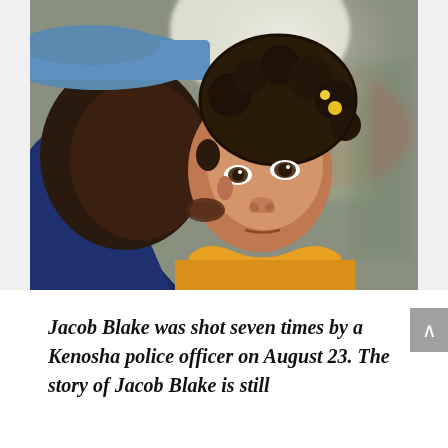[Figure (photo): A man (wearing a blue hat and dark jacket) kissing the cheek of a young child with curly hair and yellow barrettes, wearing a yellow shirt. The child looks directly at the camera with a serious expression. Background is blurred with hints of people and color.]
Jacob Blake was shot seven times by a Kenosha police officer on August 23. The story of Jacob Blake is still